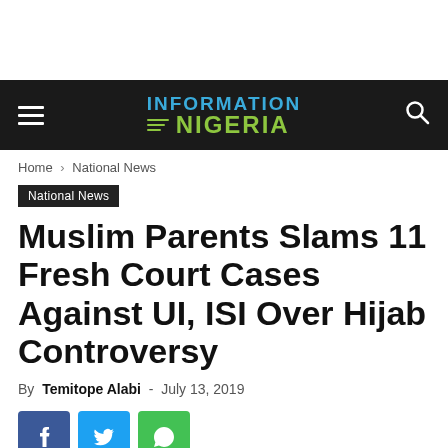INFORMATION NIGERIA
Home › National News
National News
Muslim Parents Slams 11 Fresh Court Cases Against UI, ISI Over Hijab Controversy
By Temitope Alabi - July 13, 2019
[Figure (other): Social share buttons: Facebook, Twitter, WhatsApp]